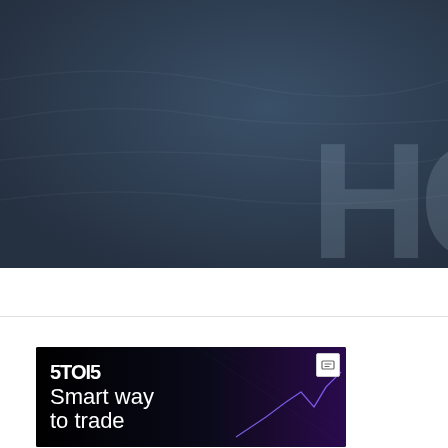[Figure (illustration): Dark blue-grey hero banner background with large partially visible letters 'HC' in lower right, watermark/background brand text style]
[Figure (illustration): STOIC brand advertisement banner with black background, STOIC logo in white geometric letters, text 'Smart way to trade', and a smartphone image with glowing blue/purple digital chart graphics on the right side. Small ad icon badge in top right corner.]